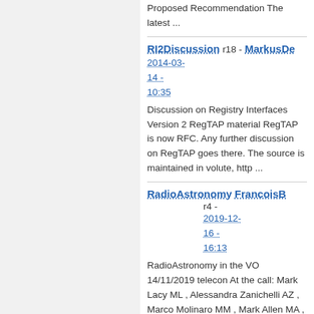Proposed Recommendation The latest ...
RI2Discussion r18 - MarkusDe- 2014-03-14 - 10:35
Discussion on Registry Interfaces Version 2 RegTAP material RegTAP is now RFC. Any further discussion on RegTAP goes there. The source is maintained in volute, http ...
RadioAstronomy FrancoisB- r4 - 2019-12-16 - 16:13
RadioAstronomy in the VO 14/11/2019 telecon At the call: Mark Lacy ML , Alessandra Zanichelli AZ , Marco Molinaro MM , Mark Allen MA , François Bonarel FB , Janet ...